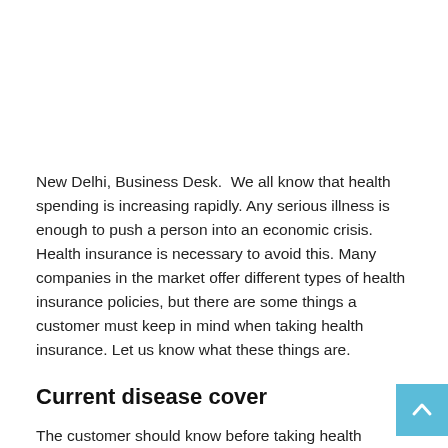New Delhi, Business Desk.  We all know that health spending is increasing rapidly. Any serious illness is enough to push a person into an economic crisis. Health insurance is necessary to avoid this. Many companies in the market offer different types of health insurance policies, but there are some things a customer must keep in mind when taking health insurance. Let us know what these things are.
Current disease cover
The customer should know before taking health insurance